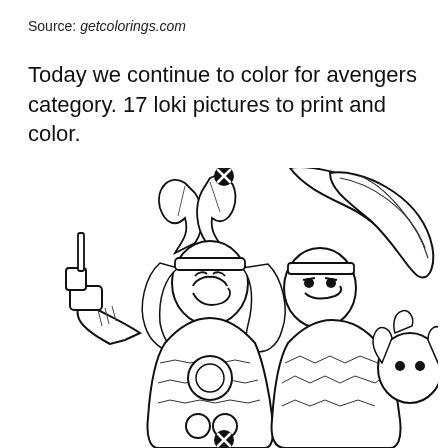Source: getcolorings.com
Today we continue to color for avengers category. 17 loki pictures to print and color.
[Figure (illustration): Black and white line art coloring page illustration showing Thor (with winged helmet, holding hammer, laughing) and Loki (with horned helmet, smirking) standing together, with a third character partially visible behind them on the right. Two circular close/remove icons are overlaid on the image. The style is comic book line art suitable for coloring.]